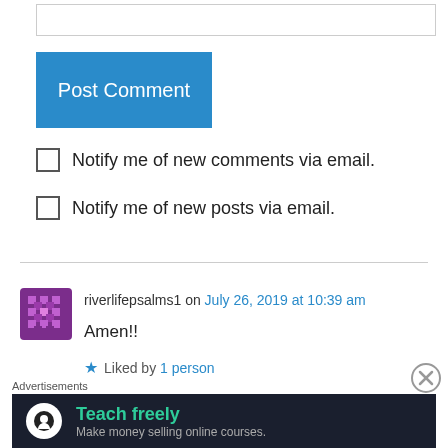[Figure (screenshot): Text input box at the top of the page]
[Figure (screenshot): Blue 'Post Comment' button]
Notify me of new comments via email.
Notify me of new posts via email.
riverlifepsalms1 on July 26, 2019 at 10:39 am
Amen!!
Liked by 1 person
Reply
Advertisements
[Figure (screenshot): Advertisement banner: Teach freely - Make money selling online courses.]